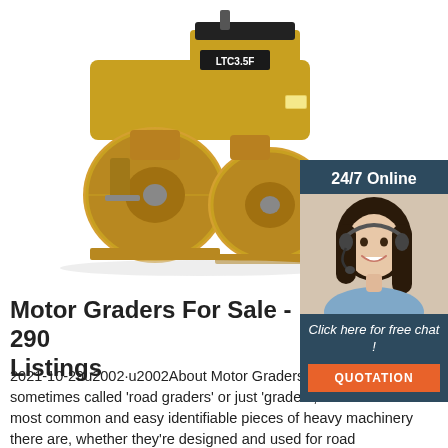[Figure (photo): Yellow road roller / tandem drum compactor labeled LTC3.5F on a white background, viewed from the front-left angle showing two large cylindrical drums.]
[Figure (infographic): 24/7 Online chat widget with dark navy background, showing a smiling woman with a headset, 'Click here for free chat!' call-to-action text, and an orange QUOTATION button.]
Motor Graders For Sale - 290 Listings
2021-10-29u2002·u2002About Motor Graders. Motor graders, sometimes called 'road graders' or just 'graders,' are one of the most common and easy identifiable pieces of heavy machinery there are, whether they're designed and used for road construction, snow removal, housing development, agricultural, forestry, or mining applications.